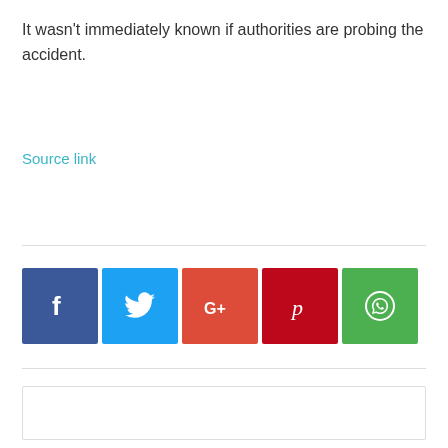It wasn't immediately known if authorities are probing the accident.
Source link
[Figure (infographic): Social sharing buttons: Facebook (blue), Twitter (light blue), Google+ (red-orange), Pinterest (dark red), WhatsApp (green)]
[Figure (other): Empty comment/content box with border]